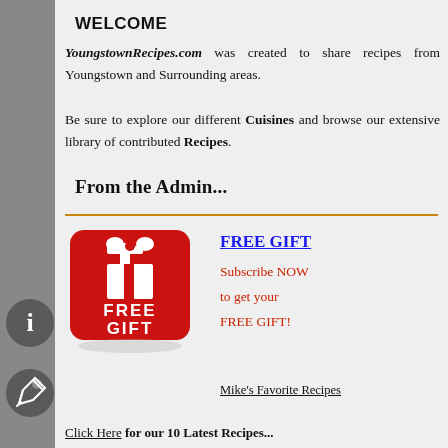WELCOME
YoungstownRecipes.com was created to share recipes from Youngstown and Surrounding areas. Be sure to explore our different Cuisines and browse our extensive library of contributed Recipes.
From the Admin...
[Figure (illustration): Red square button with white gift box icon on top and text FREE GIFT in white lettering below, with a slight shadow/reflection effect]
FREE GIFT
Subscribe NOW
to get your
FREE GIFT!
Mike's Favorite Recipes
Click Here for our 10 Latest Recipes...